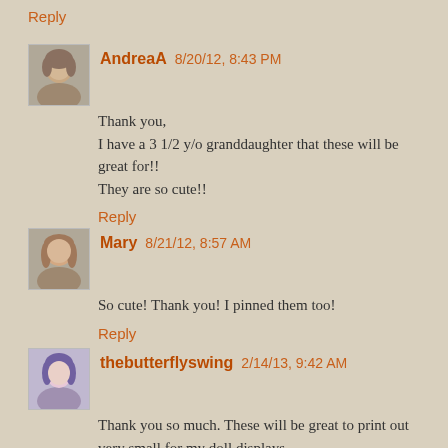Reply
AndreaA 8/20/12, 8:43 PM
Thank you,
I have a 3 1/2 y/o granddaughter that these will be great for!!
They are so cute!!
Reply
Mary 8/21/12, 8:57 AM
So cute! Thank you! I pinned them too!
Reply
thebutterflyswing 2/14/13, 9:42 AM
Thank you so much. These will be great to print out very small for my doll displays.
Also, might print out a set and laminate them for my